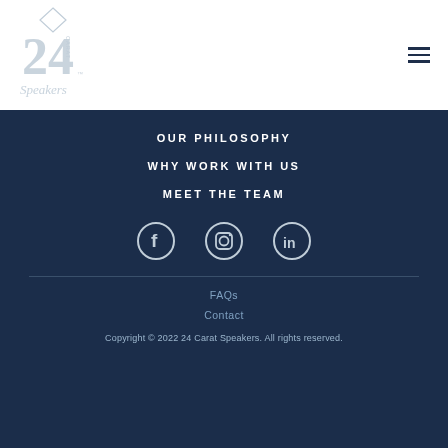[Figure (logo): 24 Carat Speakers logo — stylized '24' with diamond and script text]
OUR PHILOSOPHY
WHY WORK WITH US
MEET THE TEAM
[Figure (illustration): Social media icons row: Facebook, Instagram, LinkedIn]
FAQs
Contact
Copyright © 2022 24 Carat Speakers. All rights reserved.